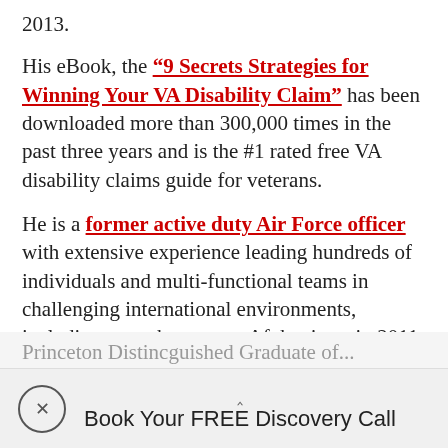2013.
His eBook, the “9 Secrets Strategies for Winning Your VA Disability Claim” has been downloaded more than 300,000 times in the past three years and is the #1 rated free VA disability claims guide for veterans.
He is a former active duty Air Force officer with extensive experience leading hundreds of individuals and multi-functional teams in challenging international environments, including a combat tour to Afghanistan in 2011 supporting Operation ENDURING FREEDOM.
Princeton Distinguished Graduate of...
Book Your FREE Discovery Call